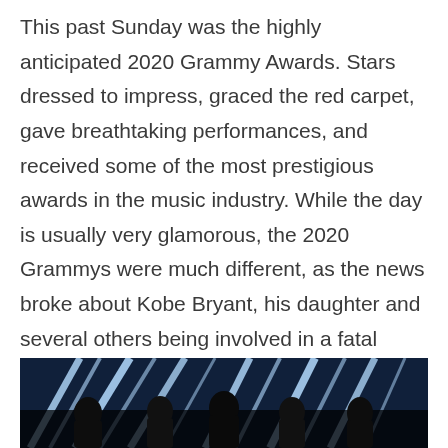This past Sunday was the highly anticipated 2020 Grammy Awards. Stars dressed to impress, graced the red carpet, gave breathtaking performances, and received some of the most prestigious awards in the music industry. While the day is usually very glamorous, the 2020 Grammys were much different, as the news broke about Kobe Bryant, his daughter and several others being involved in a fatal helicopter crash. Hearts were heavy in Staples Center that night, to say the least.
[Figure (photo): Photo of performers on stage at the 2020 Grammy Awards with blue stage lighting and light streaks in the background]